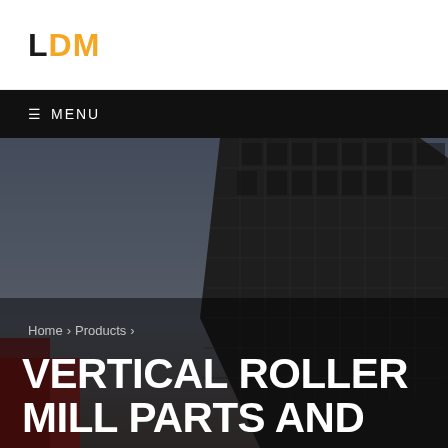LDM
☰ MENU
[Figure (photo): Upward-angle view of a modern dark industrial or commercial building against a grey sky, used as hero background image]
Home › Products ›
VERTICAL ROLLER MILL PARTS AND